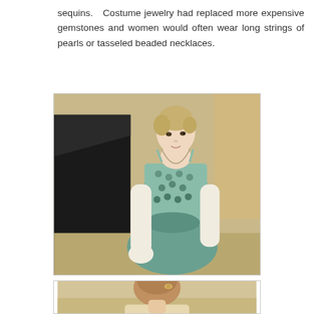sequins. Costume jewelry had replaced more expensive gemstones and women would often wear long strings of pearls or tasseled beaded necklaces.
[Figure (photo): A woman in a 1920s-style teal/mint beaded strapless gown with peacock-eye pattern embellishments, wearing long white gloves and a long necklace, standing in front of a black grand piano.]
[Figure (photo): Partial view of a woman with reddish hair in an updo with a decorative hair clip, wearing what appears to be period costume, partially visible at the bottom of the page.]